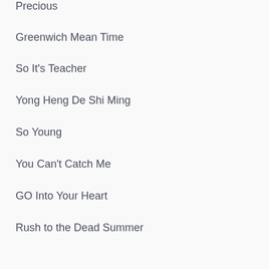Precious
Greenwich Mean Time
So It's Teacher
Yong Heng De Shi Ming
So Young
You Can't Catch Me
GO Into Your Heart
Rush to the Dead Summer
Decoded
Yes! Mr. Fashion
Tiny Times 1.0: Origami Times